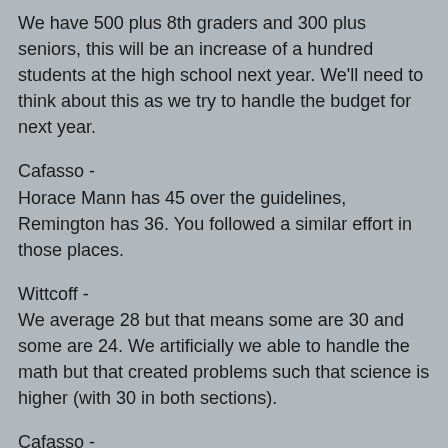We have 500 plus 8th graders and 300 plus seniors, this will be an increase of a hundred students at the high school next year. We'll need to think about this as we try to handle the budget for next year.
Cafasso -
Horace Mann has 45 over the guidelines, Remington has 36. You followed a similar effort in those places.
Wittcoff -
We average 28 but that means some are 30 and some are 24. We artificially we able to handle the math but that created problems such that science is higher (with 30 in both sections).
Cafasso -
Jefferson, Kennedy, Thayer are taking the brunt of the hit with the class size and cuts in teachers.
Ogden -
The teachers and principals looked at the numbers but also at the complexity of the learning requirements to make their